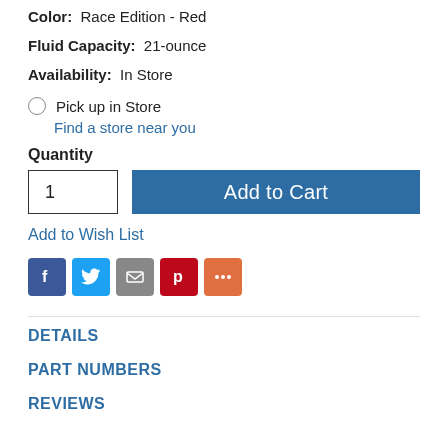Color: Race Edition - Red
Fluid Capacity: 21-ounce
Availability: In Store
Pick up in Store
Find a store near you
Quantity
1
Add to Cart
Add to Wish List
[Figure (infographic): Social sharing icons: Facebook (blue), Twitter (light blue), Email (grey), Pinterest (red), More (orange)]
DETAILS
PART NUMBERS
REVIEWS